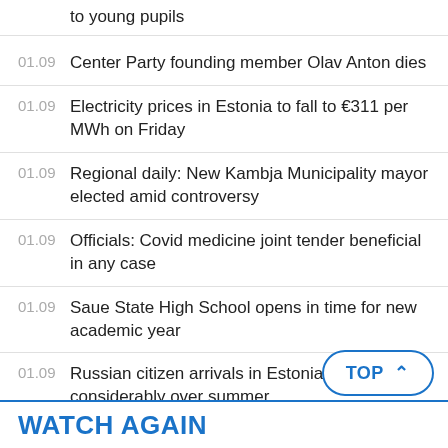Gallery: President Karis talks about going to young pupils
01.09  Center Party founding member Olav Anton dies
01.09  Electricity prices in Estonia to fall to €311 per MWh on Friday
01.09  Regional daily: New Kambja Municipality mayor elected amid controversy
01.09  Officials: Covid medicine joint tender beneficial in any case
01.09  Saue State High School opens in time for new academic year
01.09  Russian citizen arrivals in Estonia increase considerably over summer
01.09  Nord Pool puts historical price data access fees down to rising demand
WATCH AGAIN